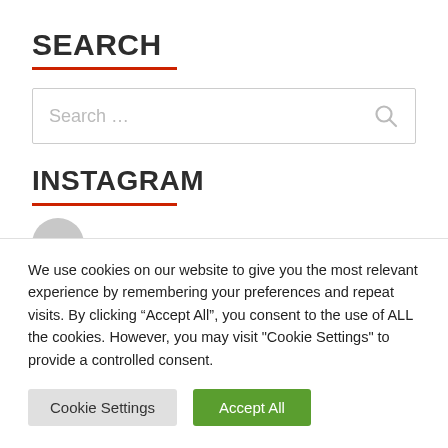SEARCH
[Figure (screenshot): Search input box with placeholder text 'Search ...' and a search icon on the right]
INSTAGRAM
[Figure (photo): Circular grey avatar/profile image placeholder]
We use cookies on our website to give you the most relevant experience by remembering your preferences and repeat visits. By clicking “Accept All”, you consent to the use of ALL the cookies. However, you may visit "Cookie Settings" to provide a controlled consent.
Cookie Settings | Accept All